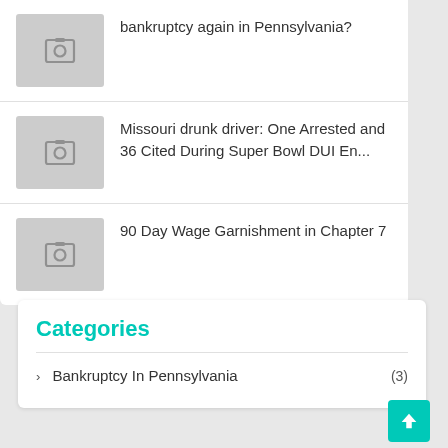bankruptcy again in Pennsylvania?
Missouri drunk driver: One Arrested and 36 Cited During Super Bowl DUI En...
90 Day Wage Garnishment in Chapter 7
Categories
Bankruptcy In Pennsylvania (3)